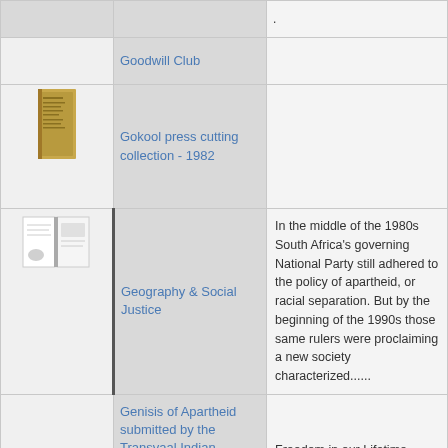| Image | Title | Description |
| --- | --- | --- |
|  |  | . |
|  | Goodwill Club |  |
| [book image] | Gokool press cutting collection - 1982 |  |
| [book image] | Geography & Social Justice | In the middle of the 1980s South Africa's governing National Party still adhered to the policy of apartheid, or racial separation. But by the beginning of the 1990s those same rulers were proclaiming a new society characterized...... |
|  | Genisis of Apartheid submitted by the Transvaal Indian | Freedom in our Lifetime.... |